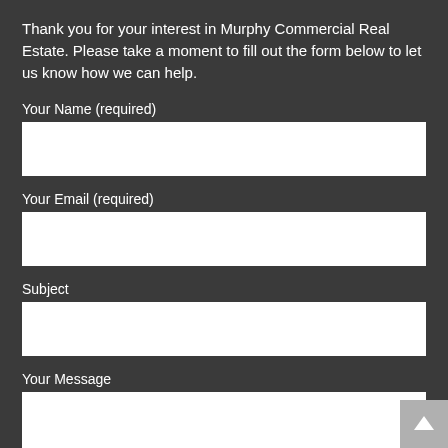Thank you for your interest in Murphy Commercial Real Estate. Please take a moment to fill out the form below to let us know how we can help.
Your Name (required)
Your Email (required)
Subject
Your Message